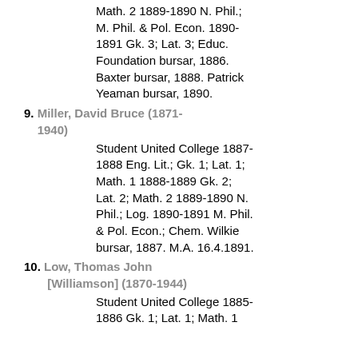Math. 2 1889-1890 N. Phil.; M. Phil. & Pol. Econ. 1890-1891 Gk. 3; Lat. 3; Educ. Foundation bursar, 1886. Baxter bursar, 1888. Patrick Yeaman bursar, 1890.
9. Miller, David Bruce (1871-1940) Student United College 1887-1888 Eng. Lit.; Gk. 1; Lat. 1; Math. 1 1888-1889 Gk. 2; Lat. 2; Math. 2 1889-1890 N. Phil.; Log. 1890-1891 M. Phil. & Pol. Econ.; Chem. Wilkie bursar, 1887. M.A. 16.4.1891.
10. Low, Thomas John [Williamson] (1870-1944) Student United College 1885-1886 Gk. 1; Lat. 1; Math. 1